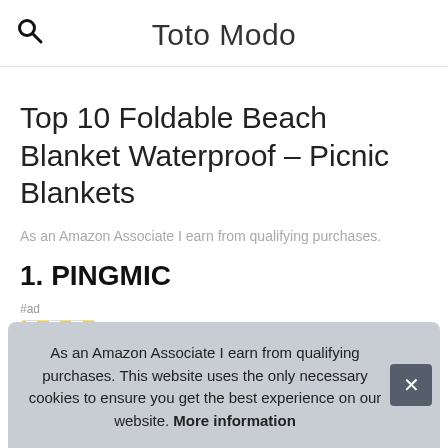Toto Modo
Top 10 Foldable Beach Blanket Waterproof – Picnic Blankets
As an Amazon Associate I earn from qualifying purchases.
1. PINGMIC
#ad
As an Amazon Associate I earn from qualifying purchases. This website uses the only necessary cookies to ensure you get the best experience on our website. More information